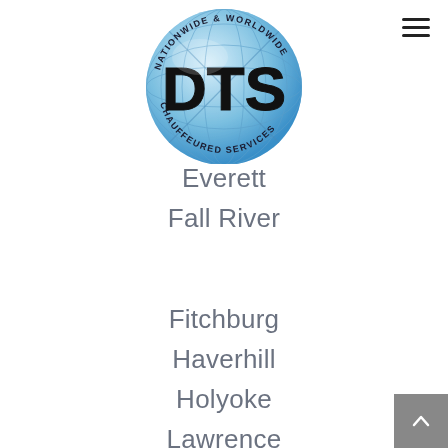[Figure (logo): DTS Nationwide & Worldwide Chauffeured Services circular logo with globe and bold DTS text]
Everett
Fall River
Fitchburg
Haverhill
Holyoke
Lawrence
Leominster
Lowell